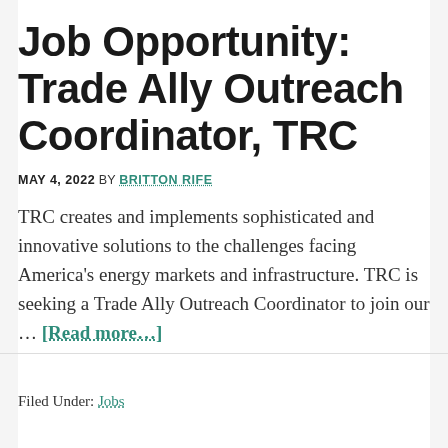Job Opportunity: Trade Ally Outreach Coordinator, TRC
MAY 4, 2022 BY BRITTON RIFE
TRC creates and implements sophisticated and innovative solutions to the challenges facing America's energy markets and infrastructure. TRC is seeking a Trade Ally Outreach Coordinator to join our … [Read more...]
Filed Under: Jobs